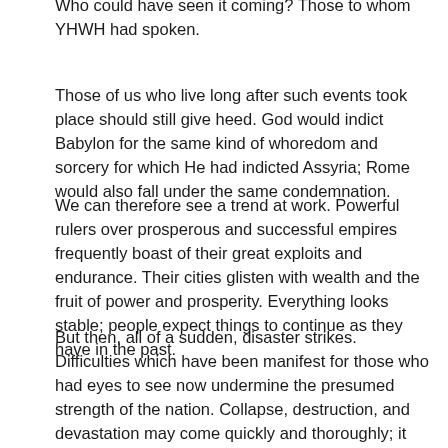Who could have seen it coming? Those to whom YHWH had spoken.
Those of us who live long after such events took place should still give heed. God would indict Babylon for the same kind of whoredom and sorcery for which He had indicted Assyria; Rome would also fall under the same condemnation.
We can therefore see a trend at work. Powerful rulers over prosperous and successful empires frequently boast of their great exploits and endurance. Their cities glisten with wealth and the fruit of power and prosperity. Everything looks stable; people expect things to continue as they have in the past.
But then, all of a sudden, disaster strikes. Difficulties which have been manifest for those who had eyes to see now undermine the presumed strength of the nation. Collapse, destruction, and devastation may come quickly and thoroughly; it may be drawn out for years, decades, or even centuries. But the end would indeed come.
Who could have seen it coming? Those who would heed what God has spoken. Power and prosperity remain ephemeral; everything seems to go on as it always has until it no longer